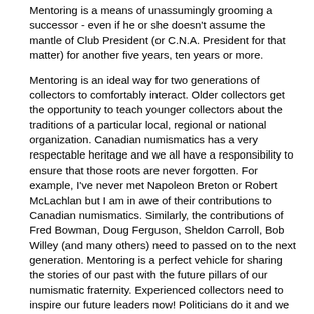Mentoring is a means of unassumingly grooming a successor - even if he or she doesn't assume the mantle of Club President (or C.N.A. President for that matter) for another five years, ten years or more.
Mentoring is an ideal way for two generations of collectors to comfortably interact. Older collectors get the opportunity to teach younger collectors about the traditions of a particular local, regional or national organization. Canadian numismatics has a very respectable heritage and we all have a responsibility to ensure that those roots are never forgotten. For example, I've never met Napoleon Breton or Robert McLachlan but I am in awe of their contributions to Canadian numismatics. Similarly, the contributions of Fred Bowman, Doug Ferguson, Sheldon Carroll, Bob Willey (and many others) need to passed on to the next generation. Mentoring is a perfect vehicle for sharing the stories of our past with the future pillars of our numismatic fraternity. Experienced collectors need to inspire our future leaders now! Politicians do it and we should too!
The types of knowledge that can be passed along through mentoring are virtually limitless and they do not have to be restricted to coin club executives. For example, why not invite a